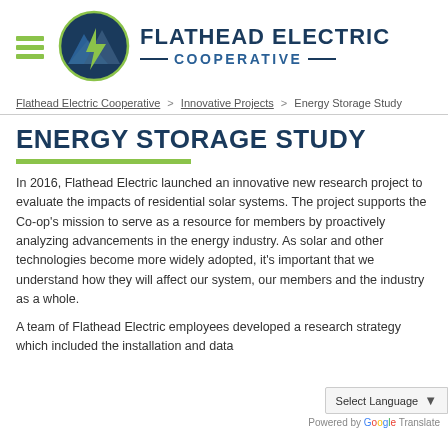Flathead Electric Cooperative
Flathead Electric Cooperative > Innovative Projects > Energy Storage Study
ENERGY STORAGE STUDY
In 2016, Flathead Electric launched an innovative new research project to evaluate the impacts of residential solar systems. The project supports the Co-op's mission to serve as a resource for members by proactively analyzing advancements in the energy industry. As solar and other technologies become more widely adopted, it's important that we understand how they will affect our system, our members and the industry as a whole.
A team of Flathead Electric employees developed a research strategy which included the installation and data...